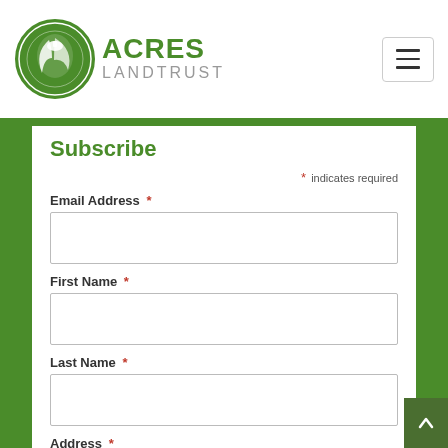[Figure (logo): Acres Land Trust logo with circular green emblem and text]
Subscribe
* indicates required
Email Address *
First Name *
Last Name *
Address *